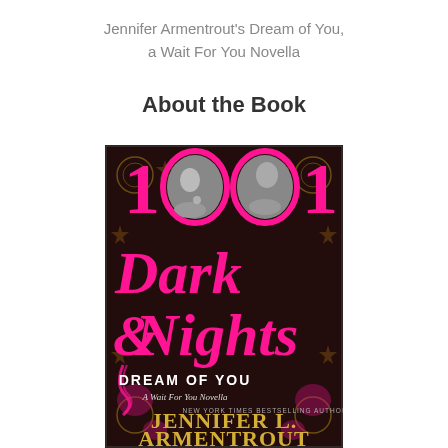Jennifer Armentrout's Dream of You,
a Wait For You Novella
About the Book
[Figure (photo): Book cover for '1001 Dark Nights: Dream of You, A Wait For You Novella' by Jennifer L. Armentrout. Dark background with floral/mandala patterns, large pink text '1001 Dark Nights', smaller text 'Dream of You, A Wait For You Novella', black and white photo of a woman and man in the '00' zeros of '1001', and gold text 'Jennifer L. Armentrout' at the bottom with 'New York Times Bestselling Author' above the author name.]